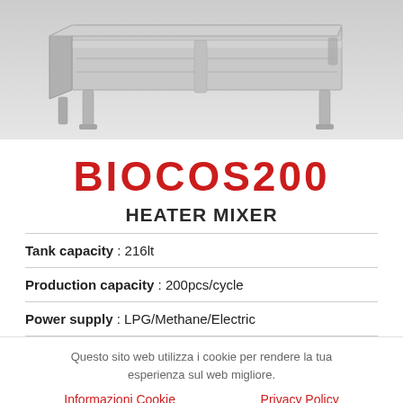[Figure (photo): Product photo of BIOCOS200 Heater Mixer — a stainless steel rectangular tank/table unit with four legs, viewed from a slightly elevated angle on a grey background.]
BIOCOS200
HEATER MIXER
Tank capacity : 216lt
Production capacity : 200pcs/cycle
Power supply : LPG/Methane/Electric
Questo sito web utilizza i cookie per rendere la tua esperienza sul web migliore.
Informazioni Cookie
Privacy Policy
ACCETTA